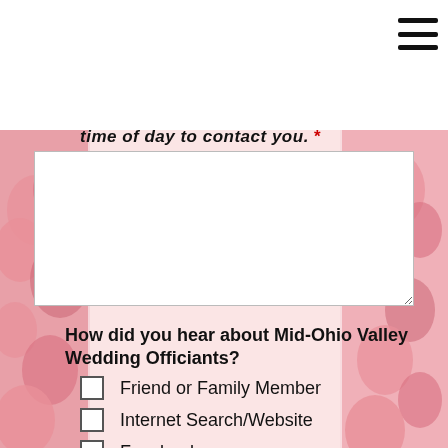[Figure (logo): Mid-Ohio Valley Wedding Officiants logo — gold script lettering on a cream/beige background]
[Figure (other): Hamburger menu icon (three horizontal black bars) in top-right corner]
time of day to contact you. *
[Figure (other): Empty white textarea input field for user text entry]
How did you hear about Mid-Ohio Valley Wedding Officiants?
Friend or Family Member
Internet Search/Website
Facebook
Instagram